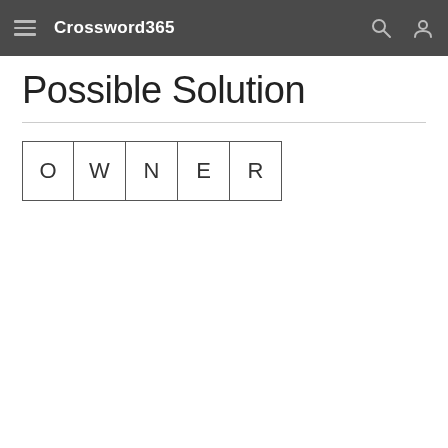Crossword365
Possible Solution
| O | W | N | E | R |